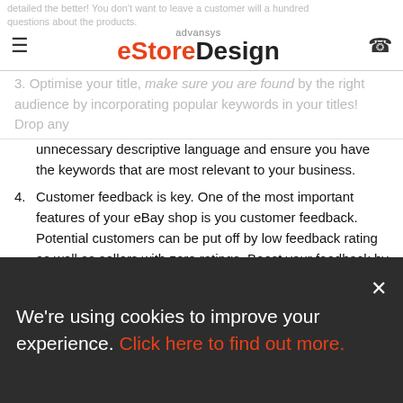advansys eStoreDesign
detailed the better! You don't want to leave a customer will a hundred questions about the products.
3. Optimise your title. Make sure you are found by the right audience by incorporating popular keywords in your titles! Drop any unnecessary descriptive language and ensure you have the keywords that are most relevant to your business.
4. Customer feedback is key. One of the most important features of your eBay shop is you customer feedback. Potential customers can be put off by low feedback rating as well as sellers with zero ratings. Boost your feedback by have a good proportion of smaller and cheaper products to sell quickly.
5. Don't forget to self promote. Always think about ways to be promoting your eBay store. A great self promotion tip is to add discount or up and coming deal flyers with your shipped items.
6. Know who you are selling to. You have to gain a customer's trust to buy through your page, but you also need to be comfortable with you are...
We're using cookies to improve your experience. Click here to find out more.